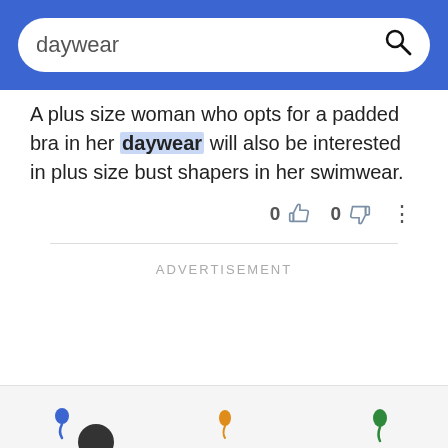daywear [search bar]
A plus size woman who opts for a padded bra in her daywear will also be interested in plus size bust shapers in her swimwear.
0 [thumbs up] 0 [thumbs down] [more options]
ADVERTISEMENT
[Figure (screenshot): Bottom navigation bar with colored map pin icons (blue, orange, green) partially visible at bottom of screen]